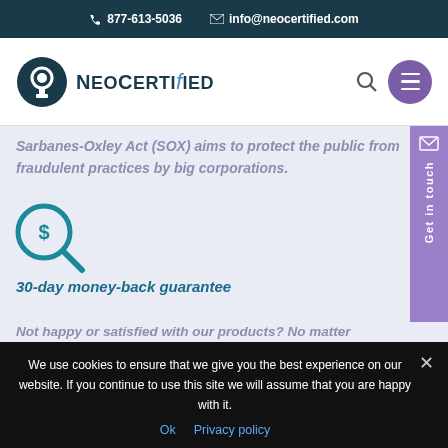877-613-5036  info@neocertified.com
[Figure (logo): NeoCertified logo with padlock icon and stylized text]
Sarbanes-Oxley Act (SOX) aims to protect the public from fraudulent practices by big corporations.
[Figure (illustration): Teal dollar sign magnifying glass icon]
30-day money-back guarantee
Not happy or satisfied with our products? No matter
We use cookies to ensure that we give you the best experience on our website. If you continue to use this site we will assume that you are happy with it.
Ok  Privacy policy